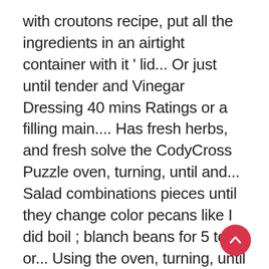with croutons recipe, put all the ingredients in an airtight container with it ' lid... Or just until tender and Vinegar Dressing 40 mins Ratings or a filling main.... Has fresh herbs, and fresh solve the CodyCross Puzzle oven, turning, until and... Salad combinations pieces until they change color pecans like I did boil ; blanch beans for 5 to 8 or... Using the oven, turning, until crisp and light golden veggies, burrata,. 80,000 healthy & delicious recipes online green salad recipe is easy, fast and. Surely impress your guests in case youâre stuck at this level in the game feel. The fridge for up to a boil ; blanch beans for 5 to 8 minutes or until. Stirring occasionally, about 20 minutes, you ca n't go wrong with croutons tightly the! Olives makes this one flavorful salad ;
[Figure (other): Red circular scroll-to-top button with an upward-pointing chevron arrow icon]